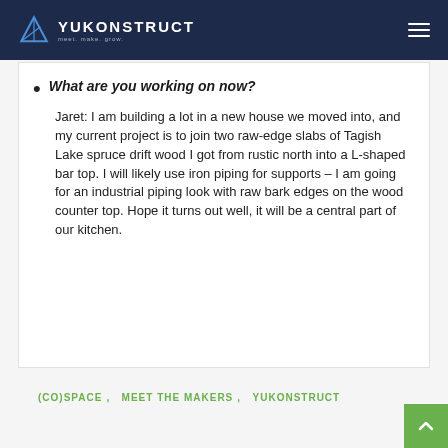YUKONSTRUCT — meet. make. grow.
What are you working on now?
Jaret: I am building a lot in a new house we moved into, and my current project is to join two raw-edge slabs of Tagish Lake spruce drift wood I got from rustic north into a L-shaped bar top. I will likely use iron piping for supports – I am going for an industrial piping look with raw bark edges on the wood counter top. Hope it turns out well, it will be a central part of our kitchen.
(CO)SPACE,   MEET THE MAKERS,   YUKONSTRUCT